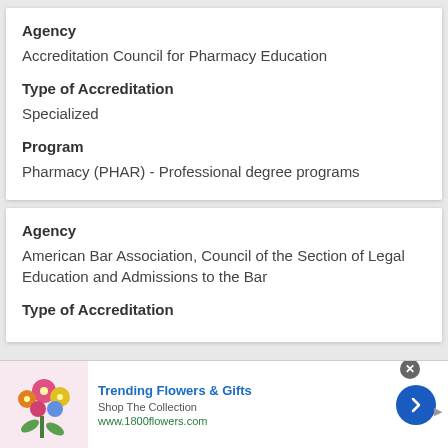Agency
Accreditation Council for Pharmacy Education
Type of Accreditation
Specialized
Program
Pharmacy (PHAR) - Professional degree programs
Agency
American Bar Association, Council of the Section of Legal Education and Admissions to the Bar
Type of Accreditation
[Figure (screenshot): Advertisement banner for 1800flowers.com showing flower bouquet image, text 'Trending Flowers & Gifts', 'Shop The Collection', 'www.1800flowers.com', blue circular arrow button, and close button]